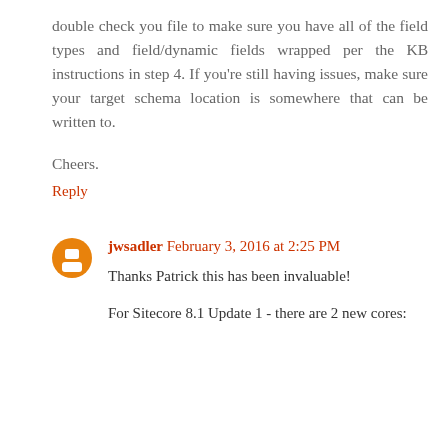double check you file to make sure you have all of the field types and field/dynamic fields wrapped per the KB instructions in step 4. If you're still having issues, make sure your target schema location is somewhere that can be written to.
Cheers.
Reply
jwsadler February 3, 2016 at 2:25 PM
Thanks Patrick this has been invaluable!
For Sitecore 8.1 Update 1 - there are 2 new cores: